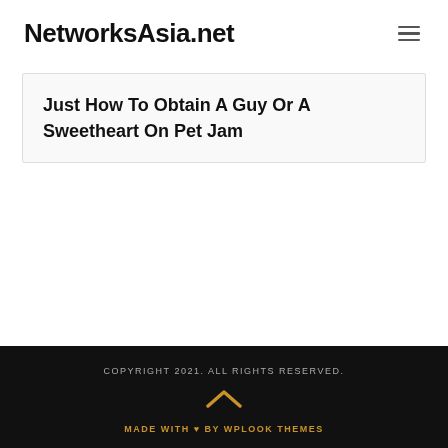NetworksAsia.net
Just How To Obtain A Guy Or A Sweetheart On Pet Jam
COPYRIGHT 2021. ALL RIGHTS RESERVED.
MADE WITH ♥ BY WPLOOK THEMES